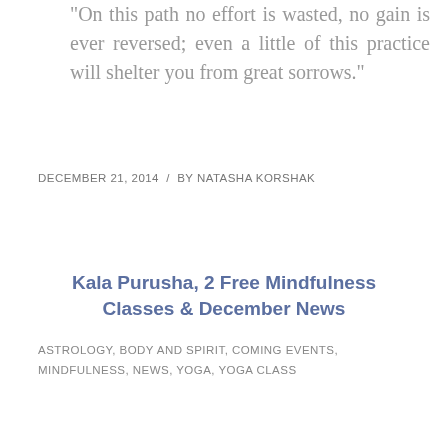"On this path no effort is wasted, no gain is ever reversed; even a little of this practice will shelter you from great sorrows."
DECEMBER 21, 2014  /  BY NATASHA KORSHAK
Kala Purusha, 2 Free Mindfulness Classes & December News
ASTROLOGY, BODY AND SPIRIT, COMING EVENTS, MINDFULNESS, NEWS, YOGA, YOGA CLASS